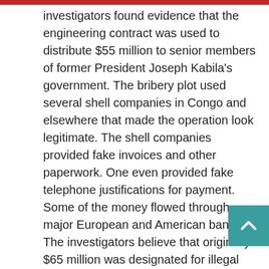investigators found evidence that the engineering contract was used to distribute $55 million to senior members of former President Joseph Kabila's government. The bribery plot used several shell companies in Congo and elsewhere that made the operation look legitimate. The shell companies provided fake invoices and other paperwork. One even provided fake telephone justifications for payment. Some of the money flowed through major European and American banks. The investigators believe that originally $65 million was designated for illegal payouts. However, Kabila was no longer president. In the last two years he has lost control of Congo's mineral and financial ministries. Kabila also lost control of Congo's BGFI Bank DRC which was involved in the scheme. The group distributing the Chinese cash retained control of the last $10 million. But stay tuned. Other “China deal” side arrangements are also under investigation. (Austin